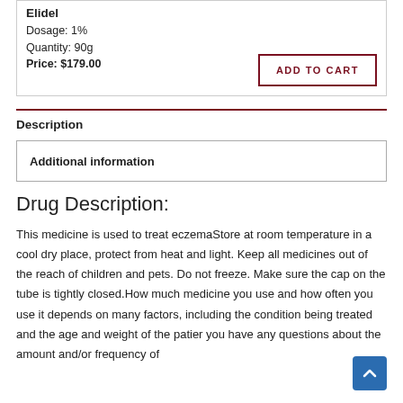Elidel
Dosage: 1%
Quantity: 90g
Price: $179.00
ADD TO CART
Description
Additional information
Drug Description:
This medicine is used to treat eczemaStore at room temperature in a cool dry place, protect from heat and light. Keep all medicines out of the reach of children and pets. Do not freeze. Make sure the cap on the tube is tightly closed.How much medicine you use and how often you use it depends on many factors, including the condition being treated and the age and weight of the patier you have any questions about the amount and/or frequency of